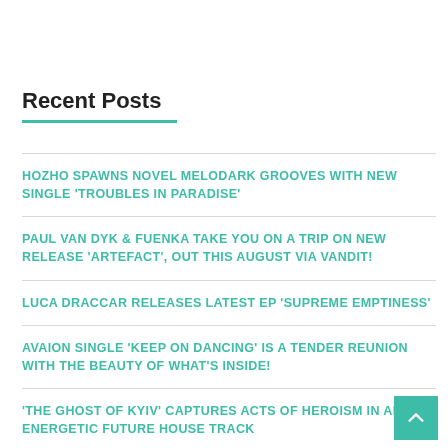Recent Posts
HOZHO SPAWNS NOVEL MELODARK GROOVES WITH NEW SINGLE 'TROUBLES IN PARADISE'
PAUL VAN DYK & FUENKA TAKE YOU ON A TRIP ON NEW RELEASE 'ARTEFACT', OUT THIS AUGUST VIA VANDIT!
LUCA DRACCAR RELEASES LATEST EP 'SUPREME EMPTINESS'
AVAION SINGLE 'KEEP ON DANCING' IS A TENDER REUNION WITH THE BEAUTY OF WHAT'S INSIDE!
'THE GHOST OF KYIV' CAPTURES ACTS OF HEROISM IN AN ENERGETIC FUTURE HOUSE TRACK